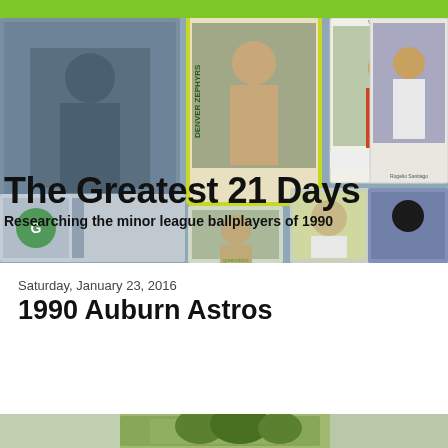[Figure (photo): Baseball card collage banner showing multiple minor league baseball player cards including Denver Zephyrs, Visalia Oaks, Pioneers, and other teams from around 1990]
The Greatest 21 Days
Researching the minor league ballplayers of 1990
Saturday, January 23, 2016
1990 Auburn Astros
[Figure (photo): Partial bottom image strip showing what appears to be a baseball stadium or park exterior]